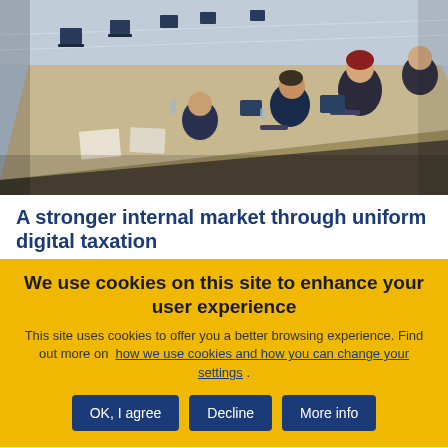[Figure (photo): Overhead/angled view of people sitting at workstations in a large meeting room or committee chamber, with monitors and papers on desks.]
A stronger internal market through uniform digital taxation
We use cookies on this site to enhance your user experience
This site uses cookies to offer you a better browsing experience. Find out more on how we use cookies and how you can change your settings .
OK, I agree
Decline
More info